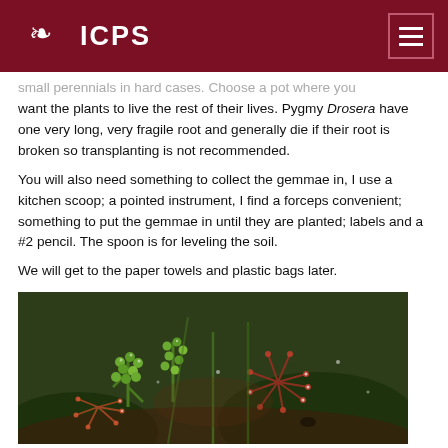ICPS
small perennials in hard cases. Choose a pot where you want the plants to live the rest of their lives. Pygmy Drosera have one very long, very fragile root and generally die if their root is broken so transplanting is not recommended.
You will also need something to collect the gemmae in, I use a kitchen scoop; a pointed instrument, I find a forceps convenient; something to put the gemmae in until they are planted; labels and a #2 pencil. The spoon is for leveling the soil.
We will get to the paper towels and plastic bags later.
[Figure (photo): Close-up photograph of Pygmy Drosera plants showing green gemmae clusters and sundew rosettes with reddish tentacles and dew drops]